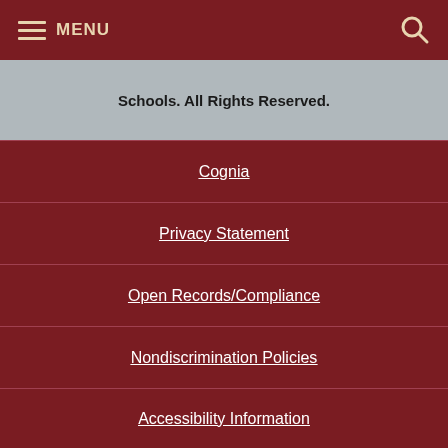MENU
Schools. All Rights Reserved.
Cognia
Privacy Statement
Open Records/Compliance
Nondiscrimination Policies
Accessibility Information